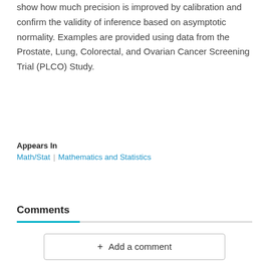show how much precision is improved by calibration and confirm the validity of inference based on asymptotic normality. Examples are provided using data from the Prostate, Lung, Colorectal, and Ovarian Cancer Screening Trial (PLCO) Study.
Appears In
Math/Stat | Mathematics and Statistics
Comments
+ Add a comment